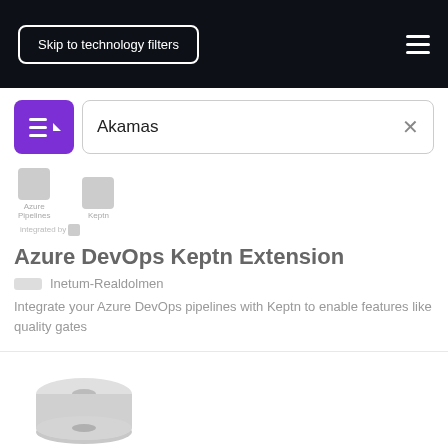Skip to technology filters
Akamas
[Figure (screenshot): Azure Pipelines and Keptn logos with 'integrated by' label]
Azure DevOps Keptn Extension
Inetum-Realdolmen
Integrate your Azure DevOps pipelines with Keptn to enable features like quality gates
[Figure (illustration): Azure Disk Storage product icon — two stacked grey discs]
Azure Disk Storage